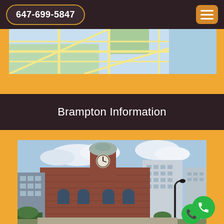647-699-5847
[Figure (map): Partial street map showing grid of roads with orange background]
Brampton Information
[Figure (photo): Photo of Brampton historic city hall building with clock tower, brick exterior, and modern buildings behind it, with a lamp post in the foreground]